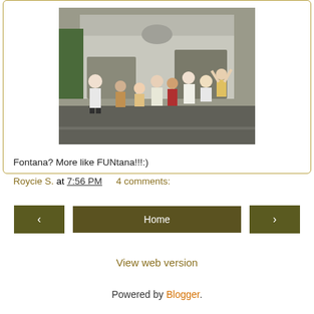[Figure (photo): Group photo of young people posing in fun positions in front of a house with a garage, taken on a street]
Fontana? More like FUNtana!!!:)
Roycie S. at 7:56 PM    4 comments:
Home
View web version
Powered by Blogger.